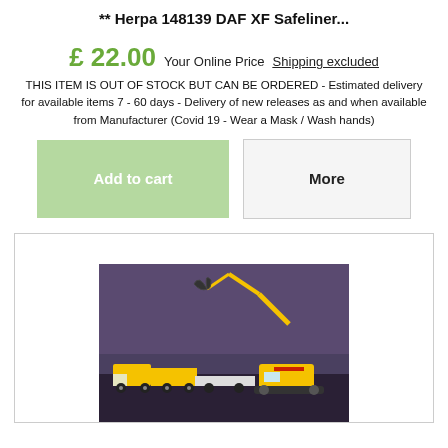** Herpa 148139 DAF XF Safeliner...
£ 22.00  Your Online Price  Shipping excluded
THIS ITEM IS OUT OF STOCK BUT CAN BE ORDERED - Estimated delivery for available items 7 - 60 days - Delivery of new releases as and when available from Manufacturer (Covid 19 - Wear a Mask / Wash hands)
[Figure (other): Two buttons: 'Add to cart' (light green) and 'More' (light gray with border)]
[Figure (photo): Photo of yellow scale model construction vehicles including a truck with trailer and an excavator, set against a dark dramatic background.]